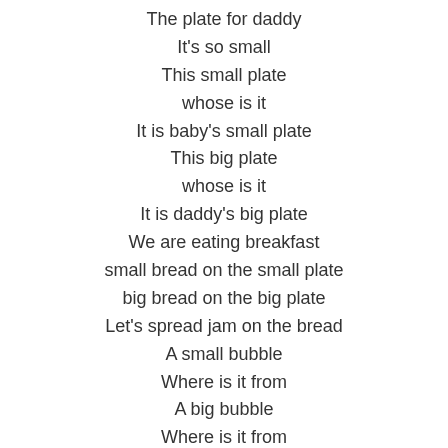The plate for daddy
It's so small
This small plate
whose is it
It is baby's small plate
This big plate
whose is it
It is daddy's big plate
We are eating breakfast
small bread on the small plate
big bread on the big plate
Let's spread jam on the bread
A small bubble
Where is it from
A big bubble
Where is it from